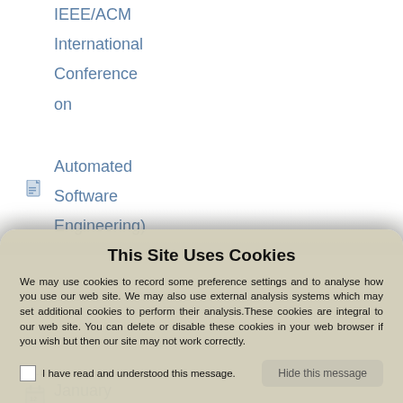IEEE/ACM International Conference on Automated Software Engineering)
January 13, 2012 - HP-PAC (Eighth IEEE
This Site Uses Cookies
We may use cookies to record some preference settings and to analyse how you use our web site. We may also use external analysis systems which may set additional cookies to perform their analysis.These cookies are integral to our web site. You can delete or disable these cookies in your web browser if you wish but then our site may not work correctly.
I have read and understood this message.
Hide this message